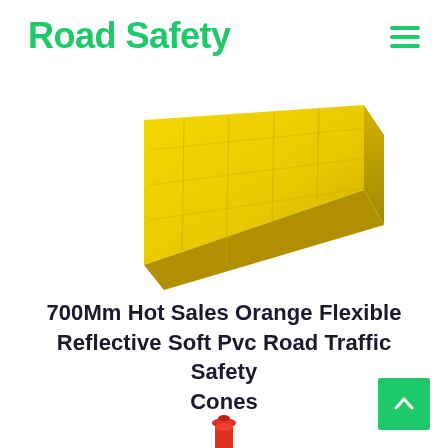Road Safety
[Figure (photo): Yellow triangular road safety wedge/ramp product on white background, viewed from above at an angle]
700Mm Hot Sales Orange Flexible Reflective Soft Pvc Road Traffic Safety Cones
[Figure (photo): Red and silver reflective road safety delineator post/bollard with red cap on white background, partial view showing top portion]